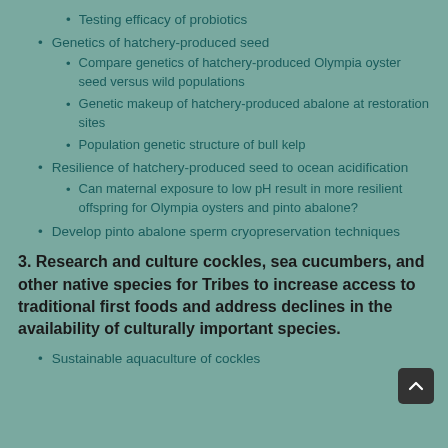Testing efficacy of probiotics
Genetics of hatchery-produced seed
Compare genetics of hatchery-produced Olympia oyster seed versus wild populations
Genetic makeup of hatchery-produced abalone at restoration sites
Population genetic structure of bull kelp
Resilience of hatchery-produced seed to ocean acidification
Can maternal exposure to low pH result in more resilient offspring for Olympia oysters and pinto abalone?
Develop pinto abalone sperm cryopreservation techniques
3. Research and culture cockles, sea cucumbers, and other native species for Tribes to increase access to traditional first foods and address declines in the availability of culturally important species.
Sustainable aquaculture of cockles